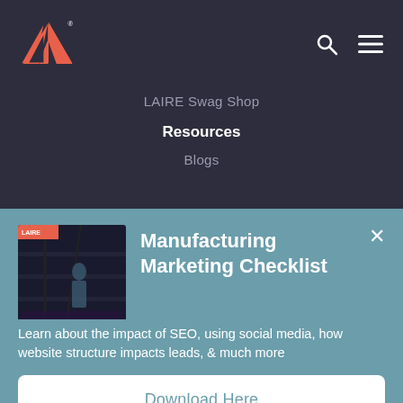[Figure (logo): LAIRE logo — red/salmon triangle mark with a small R registration symbol, white text]
LAIRE Swag Shop
Resources
Blogs
[Figure (photo): Book cover for Manufacturing Marketing Checklist — warehouse/industrial photo on cover with dark overlay and title text]
Manufacturing Marketing Checklist
Learn about the impact of SEO, using social media, how website structure impacts leads, & much more
Download Here